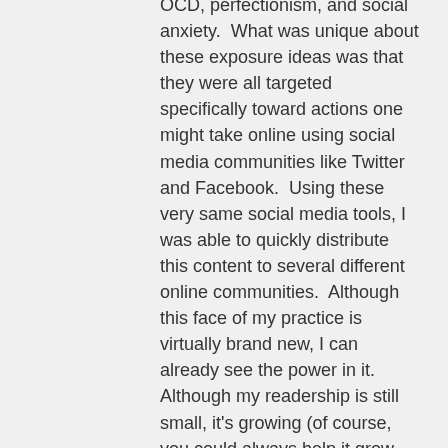OCD, perfectionism, and social anxiety. What was unique about these exposure ideas was that they were all targeted specifically toward actions one might take online using social media communities like Twitter and Facebook. Using these very same social media tools, I was able to quickly distribute this content to several different online communities. Although this face of my practice is virtually brand new, I can already see the power in it. Although my readership is still small, it's growing (of course, you could always help it grow faster by following me on Twitter, Facebook, or Google+). The use of social media tools within a professional mental health practice is potentially game-changing. It becomes simple to disseminate information rapidly, including my blog posts which represent some of the ideas that are foremost in my mind at any given time. Twitter,